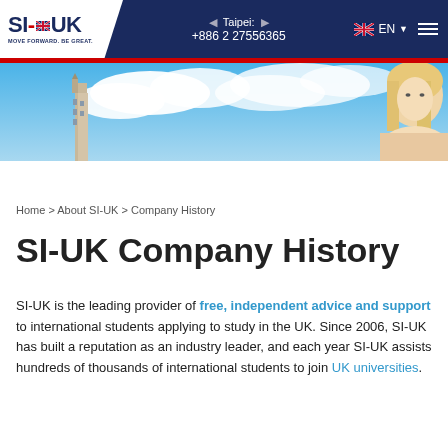[Figure (screenshot): SI-UK navigation bar with logo, Taipei phone number +886 2 27556365, UK flag EN language selector, and hamburger menu]
[Figure (photo): Hero banner showing blue sky with clouds, a tower/building on the left side, and a blonde woman on the right side]
Home > About SI-UK > Company History
SI-UK Company History
SI-UK is the leading provider of free, independent advice and support to international students applying to study in the UK. Since 2006, SI-UK has built a reputation as an industry leader, and each year SI-UK assists hundreds of thousands of international students to join UK universities.